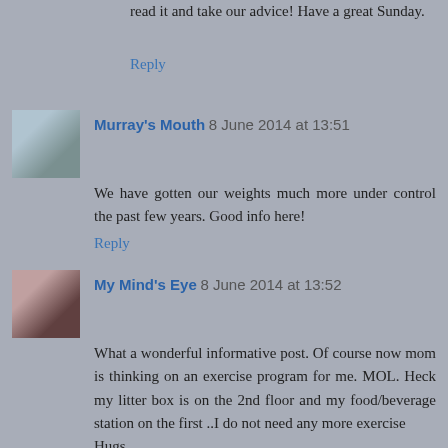read it and take our advice! Have a great Sunday.
Reply
Murray's Mouth 8 June 2014 at 13:51
We have gotten our weights much more under control the past few years. Good info here!
Reply
My Mind's Eye 8 June 2014 at 13:52
What a wonderful informative post. Of course now mom is thinking on an exercise program for me. MOL. Heck my litter box is on the 2nd floor and my food/beverage station on the first ..I do not need any more exercise
Hugs
Madi your bfff
Reply